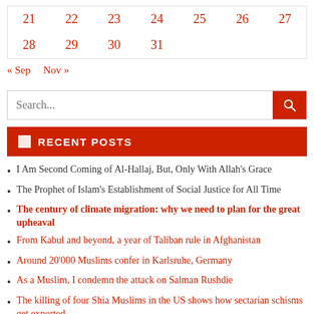| 21 | 22 | 23 | 24 | 25 | 26 | 27 |
| 28 | 29 | 30 | 31 |  |  |  |
« Sep  Nov »
Search...
RECENT POSTS
I Am Second Coming of Al-Hallaj, But, Only With Allah's Grace
The Prophet of Islam's Establishment of Social Justice for All Time
The century of climate migration: why we need to plan for the great upheaval
From Kabul and beyond, a year of Taliban rule in Afghanistan
Around 20'000 Muslims confer in Karlsruhe, Germany
As a Muslim, I condemn the attack on Salman Rushdie
The killing of four Shia Muslims in the US shows how sectarian schisms get exported